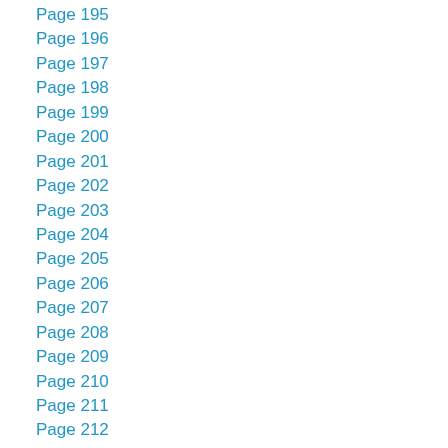Page 195
Page 196
Page 197
Page 198
Page 199
Page 200
Page 201
Page 202
Page 203
Page 204
Page 205
Page 206
Page 207
Page 208
Page 209
Page 210
Page 211
Page 212
Page 213
Page 214